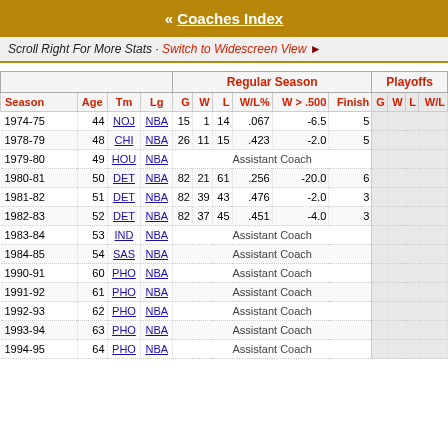« Coaches Index
Scroll Right For More Stats · Switch to Widescreen View ►
| Season | Age | Tm | Lg | G | W | L | W/L% | W > .500 | Finish | G | W | L | W/L% |
| --- | --- | --- | --- | --- | --- | --- | --- | --- | --- | --- | --- | --- | --- |
| 1974-75 | 44 | NOJ | NBA | 15 | 1 | 14 | .067 | -6.5 | 5 |  |  |  |  |
| 1978-79 | 48 | CHI | NBA | 26 | 11 | 15 | .423 | -2.0 | 5 |  |  |  |  |
| 1979-80 | 49 | HOU | NBA |  |  |  |  | Assistant Coach |  |  |  |  |  |
| 1980-81 | 50 | DET | NBA | 82 | 21 | 61 | .256 | -20.0 | 6 |  |  |  |  |
| 1981-82 | 51 | DET | NBA | 82 | 39 | 43 | .476 | -2.0 | 3 |  |  |  |  |
| 1982-83 | 52 | DET | NBA | 82 | 37 | 45 | .451 | -4.0 | 3 |  |  |  |  |
| 1983-84 | 53 | IND | NBA |  |  |  |  | Assistant Coach |  |  |  |  |  |
| 1984-85 | 54 | SAS | NBA |  |  |  |  | Assistant Coach |  |  |  |  |  |
| 1990-91 | 60 | PHO | NBA |  |  |  |  | Assistant Coach |  |  |  |  |  |
| 1991-92 | 61 | PHO | NBA |  |  |  |  | Assistant Coach |  |  |  |  |  |
| 1992-93 | 62 | PHO | NBA |  |  |  |  | Assistant Coach |  |  |  |  |  |
| 1993-94 | 63 | PHO | NBA |  |  |  |  | Assistant Coach |  |  |  |  |  |
| 1994-95 | 64 | PHO | NBA |  |  |  |  | Assistant Coach |  |  |  |  |  |